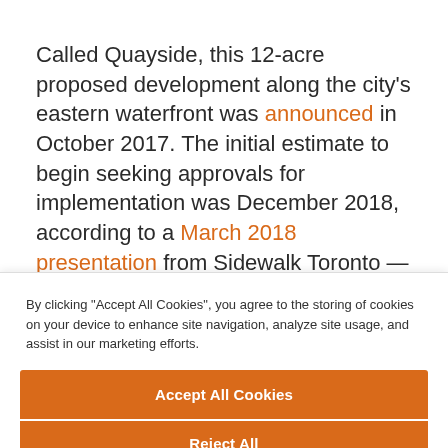Called Quayside, this 12-acre proposed development along the city's eastern waterfront was announced in October 2017. The initial estimate to begin seeking approvals for implementation was December 2018, according to a March 2018 presentation from Sidewalk Toronto — the partnership between Alphabet's Sidewalk Labs and
By clicking "Accept All Cookies", you agree to the storing of cookies on your device to enhance site navigation, analyze site usage, and assist in our marketing efforts.
Accept All Cookies
Reject All
Cookies Settings